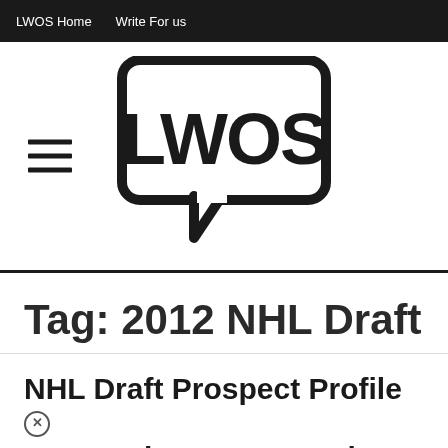LWOS Home   Write For us
[Figure (logo): LWOS logo: speech bubble containing bold text 'LWOS', with hamburger menu icon to the left]
Tag: 2012 NHL Draft
NHL Draft Prospect Profile #69: Matia Marcantuoni